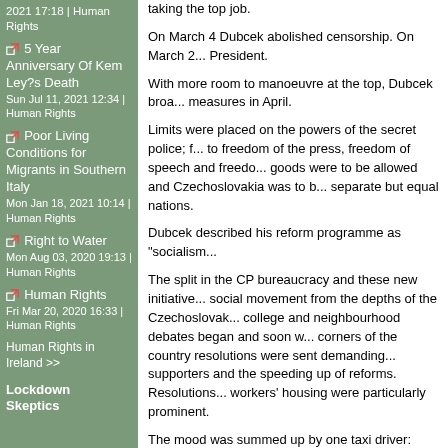2021 17:18 | Human Rights
5 Year Anniversary Of Kem Ley?s Death Sun Jul 11, 2021 12:34 | Human Rights
Poor Living Conditions for Migrants in Southern Italy Mon Jan 18, 2021 10:14 | Human Rights
Right to Water Mon Aug 03, 2020 19:13 | Human Rights
Human Rights Fri Mar 20, 2020 16:33 | Human Rights
Human Rights in Ireland >>
Lockdown Skeptics
taking the top job.
On March 4 Dubcek abolished censorship. On March 2... President.
With more room to manoeuvre at the top, Dubcek broa... measures in April.
Limits were placed on the powers of the secret police; f... to freedom of the press, freedom of speech and freedo... goods were to be allowed and Czechoslovakia was to b... separate but equal nations.
Dubcek described his reform programme as "socialism..."
The split in the CP bureaucracy and these new initiative... social movement from the depths of the Czechoslovak... college and neighbourhood debates began and soon w... corners of the country resolutions were sent demanding... supporters and the speeding up of reforms. Resolutions... workers' housing were particularly prominent.
The mood was summed up by one taxi driver: "Nobody... local anymore – now they only talk about politics."2 Om... bureaucracy, the talk soon turned to action and protests... began to occur. The first workers' strikes were around th... conditions. Industrial action at railways, airports, gaswo... forced wage rises and the resignation of unpopular man...
Could Stalinism be reformed?